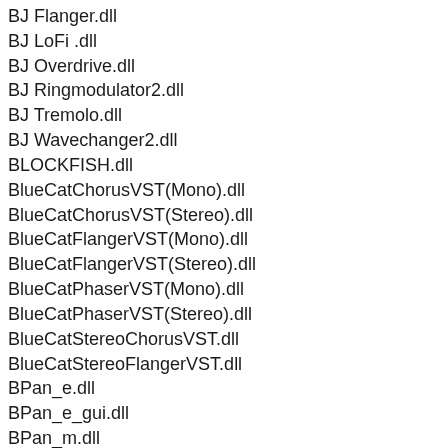BJ Flanger.dll
BJ LoFi .dll
BJ Overdrive.dll
BJ Ringmodulator2.dll
BJ Tremolo.dll
BJ Wavechanger2.dll
BLOCKFISH.dll
BlueCatChorusVST(Mono).dll
BlueCatChorusVST(Stereo).dll
BlueCatFlangerVST(Mono).dll
BlueCatFlangerVST(Stereo).dll
BlueCatPhaserVST(Mono).dll
BlueCatPhaserVST(Stereo).dll
BlueCatStereoChorusVST.dll
BlueCatStereoFlangerVST.dll
BPan_e.dll
BPan_e_gui.dll
BPan_m.dll
BPan_m_gui.dll
BuzMaxi.dll
c3multibandcomp_1_2.dll
c3multibandcomp_1_2sse.dll
CamelPhatFree.dll